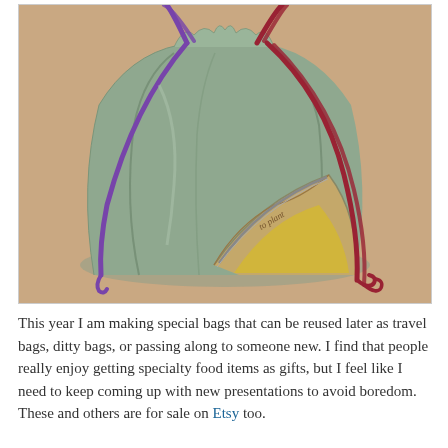[Figure (photo): A fabric drawstring bag in muted sage/grey-green color with purple and dark red/maroon drawstring cords. The bag has a decorative panel in tan and yellow on the front lower right, with script text on it. The bag sits on a warm beige/salmon background.]
This year I am making special bags that can be reused later as travel bags, ditty bags, or passing along to someone new. I find that people really enjoy getting specialty food items as gifts, but I feel like I need to keep coming up with new presentations to avoid boredom. These and others are for sale on Etsy too.